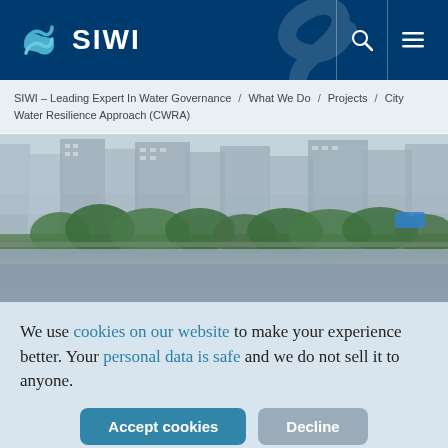SIWI
SIWI – Leading Expert In Water Governance / What We Do / Projects / City Water Resilience Approach (CWRA)
[Figure (photo): Blurred urban street scene with tall buildings and green trees in the foreground]
We use cookies on our website to make your experience better. Your personal data is safe and we do not sell it to anyone.